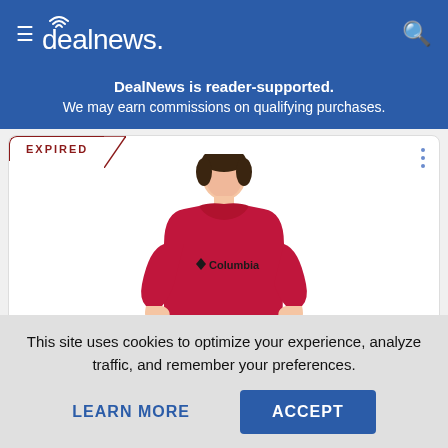dealnews
DealNews is reader-supported. We may earn commissions on qualifying purchases.
[Figure (photo): Product image of a red Columbia crewneck sweatshirt worn by a male model, with EXPIRED label overlay on the deal card]
Macy's · 2 mos ago
This site uses cookies to optimize your experience, analyze traffic, and remember your preferences.
LEARN MORE
ACCEPT